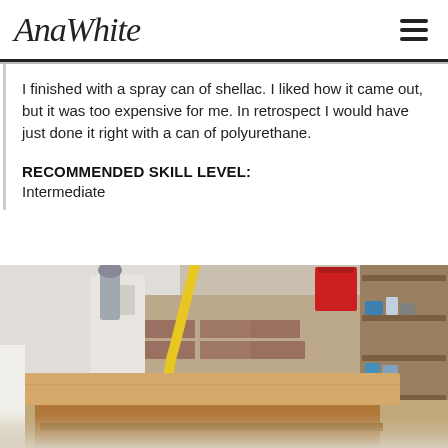AnaWhite
I finished with a spray can of shellac. I liked how it came out, but it was too expensive for me. In retrospect I would have just done it right with a can of polyurethane.
RECOMMENDED SKILL LEVEL:
Intermediate
[Figure (photo): A wooden shelf or console table being built in a workshop/garage setting. The unfinished natural pine piece sits on a workbench. Background shows brick walls, shelving units with supplies, a red bin, and a yellow power cable.]